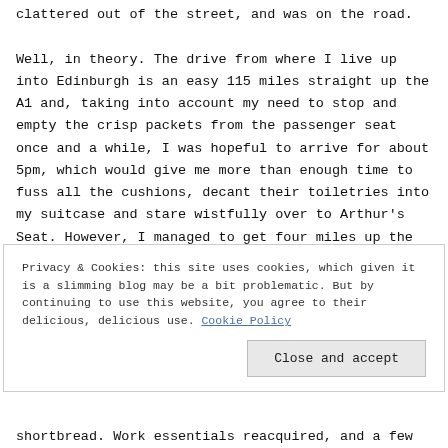clattered out of the street, and was on the road.

Well, in theory. The drive from where I live up into Edinburgh is an easy 115 miles straight up the A1 and, taking into account my need to stop and empty the crisp packets from the passenger seat once and a while, I was hopeful to arrive for about 5pm, which would give me more than enough time to fuss all the cushions, decant their toiletries into my suitcase and stare wistfully over to Arthur's Seat. However, I managed to get four miles up the road before realising that I'd left my work laptop at home. As I said, work
Privacy & Cookies: this site uses cookies, which given it is a slimming blog may be a bit problematic. But by continuing to use this website, you agree to their delicious, delicious use. Cookie Policy
Close and accept
shortbread. Work essentials reacquired, and a few